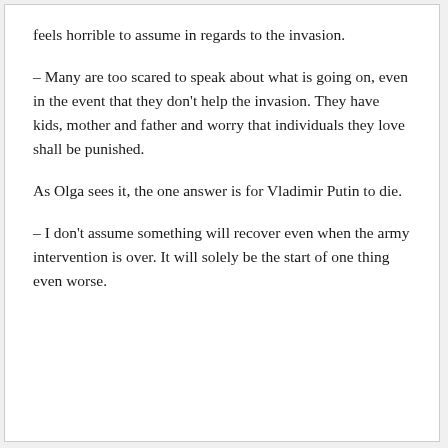feels horrible to assume in regards to the invasion.
– Many are too scared to speak about what is going on, even in the event that they don't help the invasion. They have kids, mother and father and worry that individuals they love shall be punished.
As Olga sees it, the one answer is for Vladimir Putin to die.
– I don't assume something will recover even when the army intervention is over. It will solely be the start of one thing even worse.